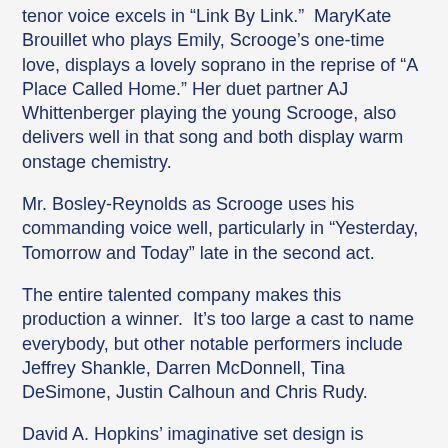tenor voice excels in “Link By Link.”  MaryKate Brouillet who plays Emily, Scrooge’s one-time love, displays a lovely soprano in the reprise of “A Place Called Home.” Her duet partner AJ Whittenberger playing the young Scrooge, also delivers well in that song and both display warm onstage chemistry.
Mr. Bosley-Reynolds as Scrooge uses his commanding voice well, particularly in “Yesterday, Tomorrow and Today” late in the second act.
The entire talented company makes this production a winner.  It’s too large a cast to name everybody, but other notable performers include Jeffrey Shankle, Darren McDonnell, Tina DeSimone, Justin Calhoun and Chris Rudy.
David A. Hopkins’ imaginative set design is exceptional.  Many clever props and furnishings are used onstage and create the needed ambiance for 19th century London.  Street oil lamps, vendor carts, wagons, bank teller windows, an oversized turkey, and a dancing skeleton add to the joy.